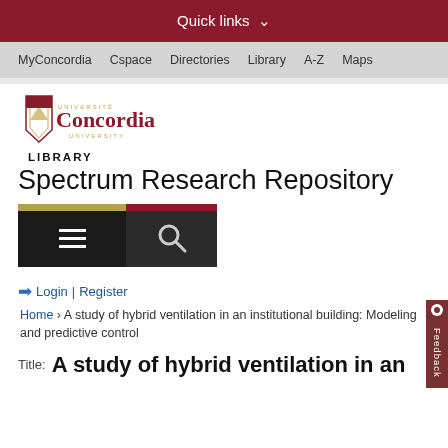Quick links
MyConcordia  Cspace  Directories  Library  A-Z  Maps
[Figure (logo): Concordia University shield logo with text 'UNIVERSITE Concordia UNIVERSITY']
LIBRARY
Spectrum Research Repository
[Figure (screenshot): Navigation menu button (hamburger icon) and search button (magnifying glass icon)]
Login | Register
Home > A study of hybrid ventilation in an institutional building: Modeling and predictive control
Title:  A study of hybrid ventilation in an